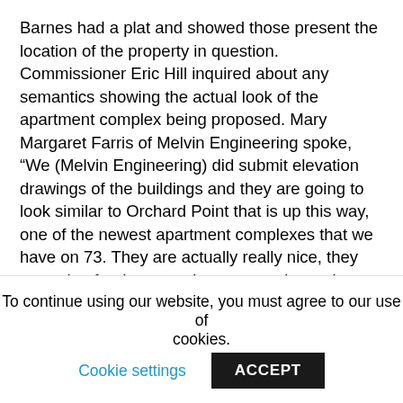Barnes had a plat and showed those present the location of the property in question. Commissioner Eric Hill inquired about any semantics showing the actual look of the apartment complex being proposed. Mary Margaret Farris of Melvin Engineering spoke, “We (Melvin Engineering) did submit elevation drawings of the buildings and they are going to look similar to Orchard Point that is up this way, one of the newest apartment complexes that we have on 73. They are actually really nice, they are going for the green bronze, you know the green building.” Hill asked the property owners if they had seen the design of the buildings being proposed. Ora Mock said it was not the design of the building that was her concern. “It’s what projects unfortunately turn into. It only takes one bad apple to ruin a
To continue using our website, you must agree to our use of cookies. Cookie settings ACCEPT